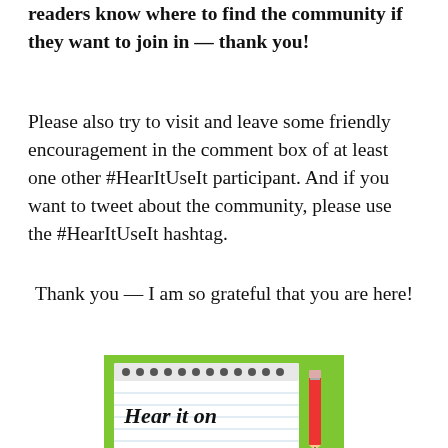readers know where to find the community if they want to join in — thank you!
Please also try to visit and leave some friendly encouragement in the comment box of at least one other #HearItUseIt participant. And if you want to tweet about the community, please use the #HearItUseIt hashtag.
Thank you — I am so grateful that you are here!
[Figure (photo): A notebook with spiral binding on a bright green background, with a red pencil to the right. The notebook shows handwritten text reading 'Hear it on' in cursive script.]